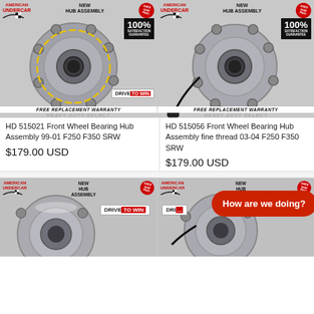[Figure (photo): Hub assembly product image for HD 515021 with American Undercar branding, 100% satisfaction guarantee badge, FREE REPLACEMENT WARRANTY and HEAVY DUTY SELECT text]
[Figure (photo): Hub assembly product image for HD 515056 with American Undercar branding, 100% satisfaction guarantee badge, FREE REPLACEMENT WARRANTY and HEAVY DUTY SELECT text, with ABS sensor wire]
HD 515021 Front Wheel Bearing Hub Assembly 99-01 F250 F350 SRW
HD 515056 Front Wheel Bearing Hub Assembly fine thread 03-04 F250 F350 SRW
$179.00 USD
$179.00 USD
[Figure (photo): Hub assembly product image bottom left with American Undercar branding, DRIVE TO WIN badge, NEW HUB ASSEMBLY text]
[Figure (photo): Hub assembly product image bottom right with American Undercar branding, partially obscured by How are we doing overlay]
How are we doing?